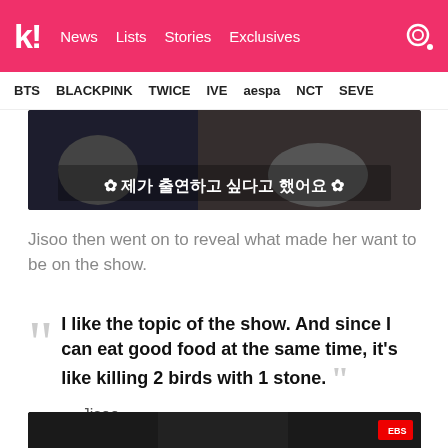k! News Lists Stories Exclusives
BTS BLACKPINK TWICE IVE aespa NCT SEVE
[Figure (photo): Video thumbnail with Korean text overlay reading: 제가 출연하고 싶다고 했어요]
Jisoo then went on to reveal what made her want to be on the show.
"I like the topic of the show. And since I can eat good food at the same time, it's like killing 2 birds with 1 stone." — Jisoo
[Figure (screenshot): Bottom partial video thumbnail strip]